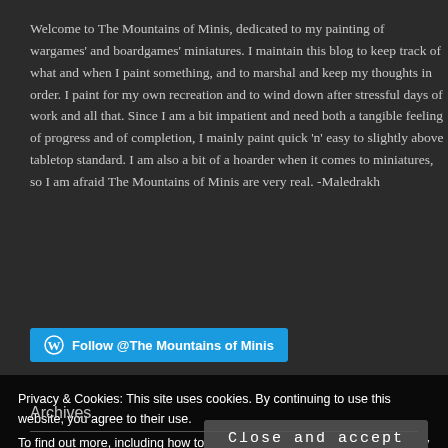Welcome to The Mountains of Minis, dedicated to my painting of wargames' and boardgames' miniatures. I maintain this blog to keep track of what and when I paint something, and to marshal and keep my thoughts in order. I paint for my own recreation and to wind down after stressful days of work and all that. Since I am a bit impatient and need both a tangible feeling of progress and of completion, I mainly paint quick 'n' easy to slightly above tabletop standard. I am also a bit of a hoarder when it comes to miniatures, so I am afraid The Mountains of Minis are very real. -Maledrakh
[Figure (other): Follow @The Mountains of Minis button with WordPress logo icon on blue background]
Privacy & Cookies: This site uses cookies. By continuing to use this website, you agree to their use.
To find out more, including how to control cookies, see here: Cookie Policy
Close and accept
Archives